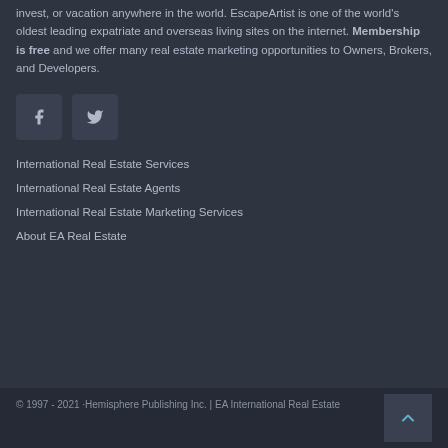invest, or vacation anywhere in the world. EscapeArtist is one of the world's oldest leading expatriate and overseas living sites on the internet. Membership is free and we offer many real estate marketing opportunities to Owners, Brokers, and Developers.
[Figure (other): Two social media icon buttons: Facebook (f) and Twitter (bird icon), dark square buttons with light icons]
International Real Estate Services
International Real Estate Agents
International Real Estate Marketing Services
About EA Real Estate
© 1997 - 2021 ·Hemisphere Publishing Inc. | EA International Real Estate